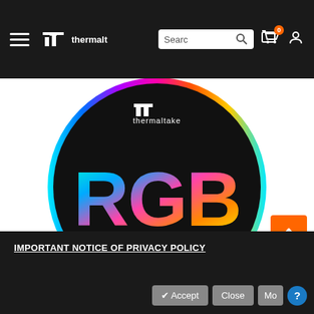thermaltake — navigation bar with hamburger menu, logo, search, cart (0), user icon
[Figure (logo): Thermaltake RGB Plus logo — black circular badge with rainbow-gradient 'RGB' text and white 'PLUS' text below, rainbow ring border, thermaltake logo at top]
IMPORTANT NOTICE OF PRIVACY POLICY — Accept, Close, More buttons